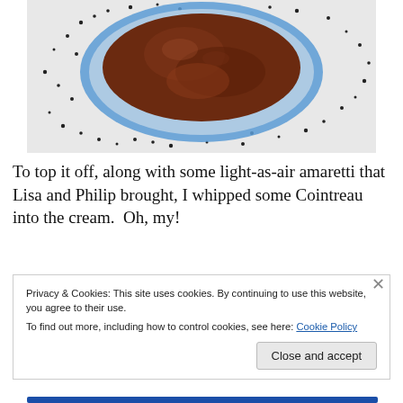[Figure (photo): A glass bowl containing dark chocolate mousse or pudding, with small dark seeds scattered on the white surface around the bowl, viewed from above.]
To top it off, along with some light-as-air amaretti that Lisa and Philip brought, I whipped some Cointreau into the cream.  Oh, my!
Privacy & Cookies: This site uses cookies. By continuing to use this website, you agree to their use.
To find out more, including how to control cookies, see here: Cookie Policy
Close and accept